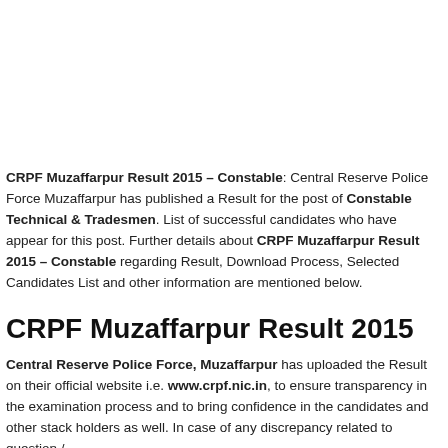CRPF Muzaffarpur Result 2015 – Constable: Central Reserve Police Force Muzaffarpur has published a Result for the post of Constable Technical & Tradesmen. List of successful candidates who have appear for this post. Further details about CRPF Muzaffarpur Result 2015 – Constable regarding Result, Download Process, Selected Candidates List and other information are mentioned below.
CRPF Muzaffarpur Result 2015
Central Reserve Police Force, Muzaffarpur has uploaded the Result on their official website i.e. www.crpf.nic.in, to ensure transparency in the examination process and to bring confidence in the candidates and other stack holders as well. In case of any discrepancy related to question /